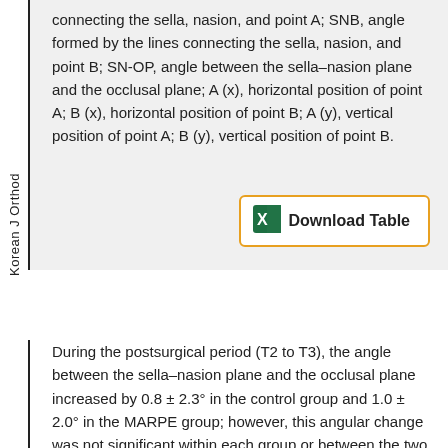connecting the sella, nasion, and point A; SNB, angle formed by the lines connecting the sella, nasion, and point B; SN-OP, angle between the sella–nasion plane and the occlusal plane; A (x), horizontal position of point A; B (x), horizontal position of point B; A (y), vertical position of point A; B (y), vertical position of point B.
[Figure (other): Download Table button with Excel icon]
Korean J Orthod
During the postsurgical period (T2 to T3), the angle between the sella–nasion plane and the occlusal plane increased by 0.8 ± 2.3° in the control group and 1.0 ± 2.0° in the MARPE group; however, this angular change was not significant within each group or between the two groups (Table 5). Point B moved 1.5 ± 1.7 mm backward (p = 0.003) and 1.0 ± 2.1 mm upward in the control group and 0.8 ± 2.0 mm backward and 1.3 ± 1.6 mm